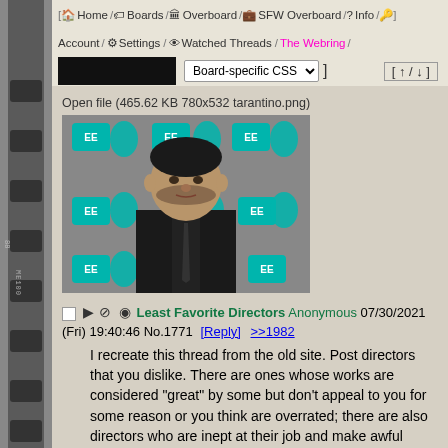[ Home / Boards / Overboard / SFW Overboard / Info / 🔑 ]
Account / Settings / Watched Threads / The Webring /
Board-specific CSS ▾  [ ↑ / ↓ ]
Open file (465.62 KB 780x532 tarantino.png)
[Figure (photo): A man in a black suit and tie at a BAFTA event, with teal EE and BAFTA logos in the background]
□ ▶ 🚫 👁 Least Favorite Directors Anonymous 07/30/2021 (Fri) 19:40:46 No.1771 [Reply] >>1982
I recreate this thread from the old site. Post directors that you dislike. There are ones whose works are considered "great" by some but don't appeal to you for some reason or you think are overrated; there are also directors who are inept at their job and make awful films. Controversial opinions are welcome.
I think these two are overrated. Lars von Tryhard